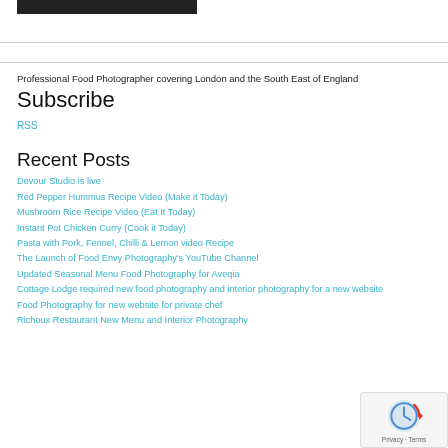[Figure (other): Dark rectangular bar at top of page]
Professional Food Photographer covering London and the South East of England
Subscribe
RSS
Recent Posts
Devour Studio is live
Red Pepper Hummus Recipe Video (Make it Today)
Mushroom Rice Recipe Video (Eat It Today)
Instant Pot Chicken Curry (Cook it Today)
Pasta with Pork, Fennel, Chilli & Lemon video Recipe
The Launch of Food Envy Photography's YouTube Channel
Updated Seasonal Menu Food Photography for Aveqia
Cottage Lodge required new food photography and interior photography for a new website
Food Photography for new website for private chef
Richoux Restaurant New Menu and Interior Photography